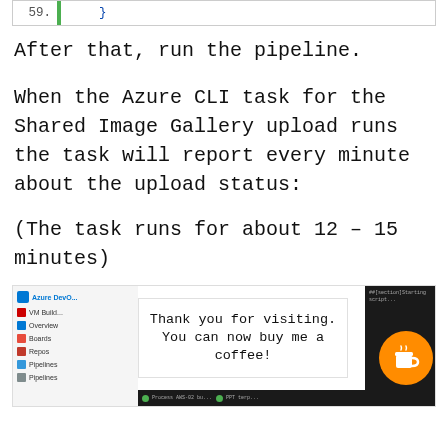[Figure (screenshot): Code snippet showing line 59 with closing brace, highlighted with green bar, text in blue]
After that, run the pipeline.
When the Azure CLI task for the Shared Image Gallery upload runs the task will report every minute about the upload status:
(The task runs for about 12 – 15 minutes)
[Figure (screenshot): Screenshot of Azure DevOps interface with a 'Thank you for visiting. You can now buy me a coffee!' overlay and an orange coffee cup button]